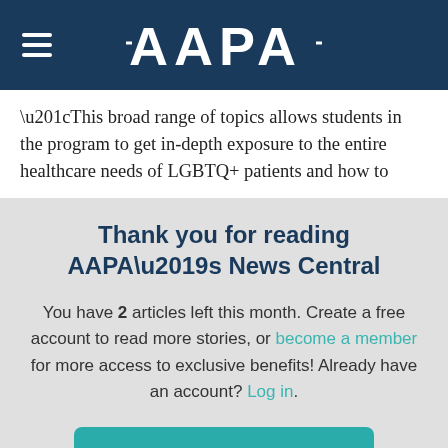AAPA
“This broad range of topics allows students in the program to get in-depth exposure to the entire healthcare needs of LGBTQ+ patients and how to
Thank you for reading AAPA’s News Central
You have 2 articles left this month. Create a free account to read more stories, or become a member for more access to exclusive benefits! Already have an account? Log in.
CREATE FREE ACCOUNT